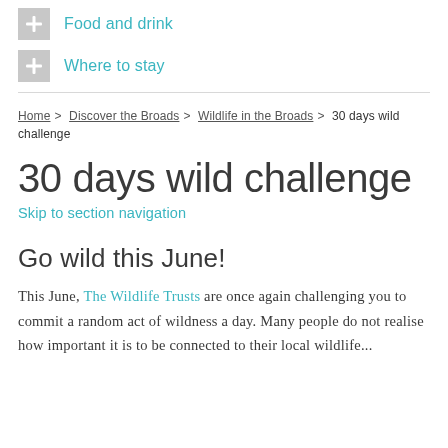+ Food and drink
+ Where to stay
Home > Discover the Broads > Wildlife in the Broads > 30 days wild challenge
30 days wild challenge
Skip to section navigation
Go wild this June!
This June, The Wildlife Trusts are once again challenging you to commit a random act of wildness a day. Many people do not realise how important it is to be connected to their local wildlife...